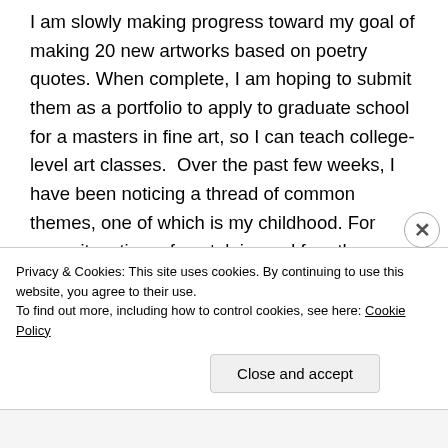I am slowly making progress toward my goal of making 20 new artworks based on poetry quotes. When complete, I am hoping to submit them as a portfolio to apply to graduate school for a masters in fine art, so I can teach college-level art classes.  Over the past few weeks, I have been noticing a thread of common themes, one of which is my childhood. For some its a time of nostalgia, and for others, something to forget. For me, its a mixed bag, and the few memories I
Privacy & Cookies: This site uses cookies. By continuing to use this website, you agree to their use.
To find out more, including how to control cookies, see here: Cookie Policy
Close and accept